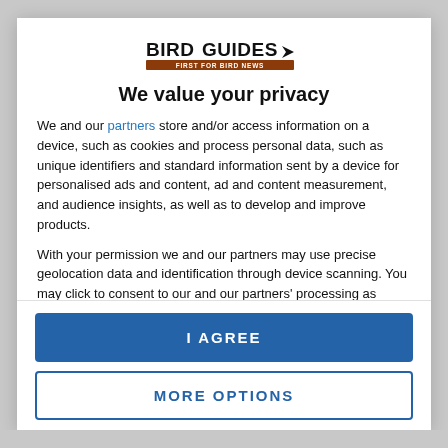[Figure (logo): BirdGuides logo with bird silhouette and tagline 'FIRST FOR BIRD NEWS']
We value your privacy
We and our partners store and/or access information on a device, such as cookies and process personal data, such as unique identifiers and standard information sent by a device for personalised ads and content, ad and content measurement, and audience insights, as well as to develop and improve products.
With your permission we and our partners may use precise geolocation data and identification through device scanning. You may click to consent to our and our partners' processing as described above. Alternatively you may access more detailed information and change your preferences before consenting or to